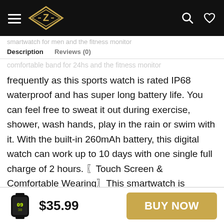Z brand navigation header with hamburger menu, logo, search and wishlist icons
Description   Reviews (0)
frequently as this sports watch is rated IP68 waterproof and has super long battery life. You can feel free to sweat it out during exercise, shower, wash hands, play in the rain or swim with it. With the built-in 260mAh battery, this digital watch can work up to 10 days with one single full charge of 2 hours. 〖Touch Screen & Comfortable Wearing〗This smartwatch is equipped with a 1.4-inch color touch screen and 5 watch faces to choose from, making it easy to operate and read the data. The adjustable
$35.99   BUY NOW